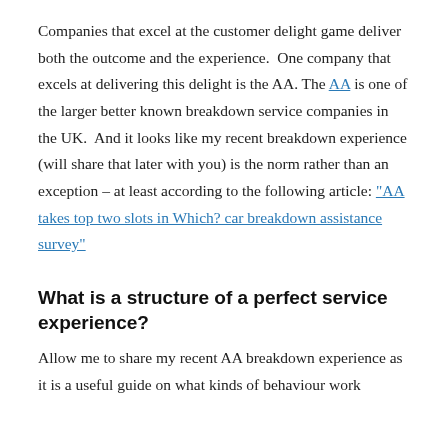Companies that excel at the customer delight game deliver both the outcome and the experience. One company that excels at delivering this delight is the AA. The AA is one of the larger better known breakdown service companies in the UK. And it looks like my recent breakdown experience (will share that later with you) is the norm rather than an exception – at least according to the following article: "AA takes top two slots in Which? car breakdown assistance survey"
What is a structure of a perfect service experience?
Allow me to share my recent AA breakdown experience as it is a useful guide on what kinds of behaviour work for excellent service.